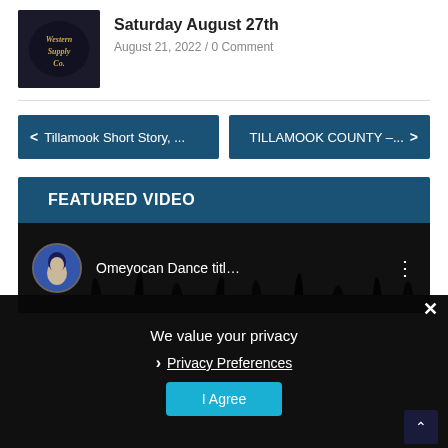[Figure (photo): Thumbnail image with decorative Western Supply Co. logo text on dark background]
Saturday August 27th
August 21, 2022 / 0 Comment
< Tillamook Short Story, ...
TILLAMOOK COUNTY –... >
FEATURED VIDEO
[Figure (screenshot): YouTube video thumbnail showing Omeyocan Dance title with channel avatar and three-dot menu]
We value your privacy
> Privacy Preferences
I Agree